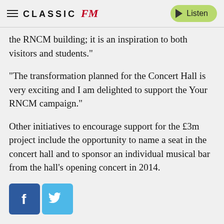CLASSIC FM — Listen
the RNCM building; it is an inspiration to both visitors and students."
"The transformation planned for the Concert Hall is very exciting and I am delighted to support the Your RNCM campaign."
Other initiatives to encourage support for the £3m project include the opportunity to name a seat in the concert hall and to sponsor an individual musical bar from the hall's opening concert in 2014.
[Figure (other): Facebook and Twitter social media share buttons]